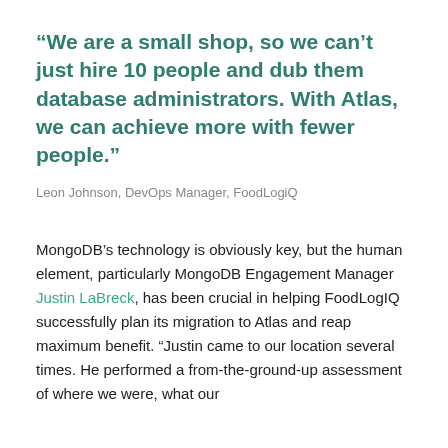“We are a small shop, so we can’t just hire 10 people and dub them database administrators. With Atlas, we can achieve more with fewer people.”
Leon Johnson, DevOps Manager, FoodLogiQ
MongoDB’s technology is obviously key, but the human element, particularly MongoDB Engagement Manager Justin LaBreck, has been crucial in helping FoodLogIQ successfully plan its migration to Atlas and reap maximum benefit. “Justin came to our location several times. He performed a from-the-ground-up assessment of where we were, what our